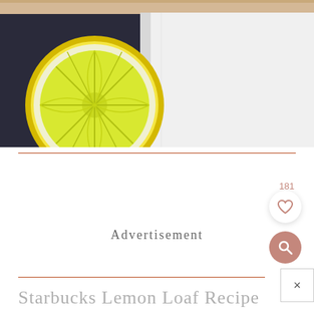[Figure (photo): Close-up photo of a sliced lemon half showing the interior segments, placed on a dark surface next to a white folded cloth/towel and a wooden board.]
Advertisement
181
Starbucks Lemon Loaf Recipe